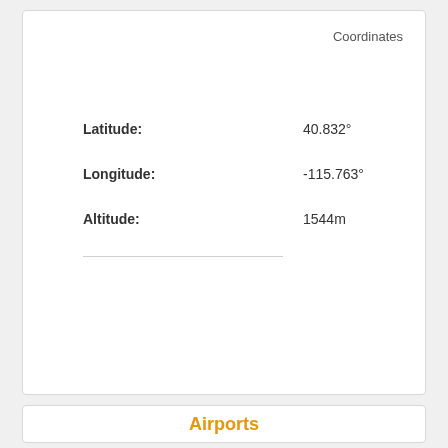Coordinates
| Latitude: | 40.832° |
| Longitude: | -115.763° |
| Altitude: | 1544m |
Airports